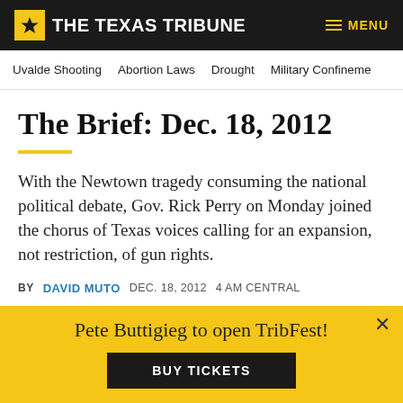THE TEXAS TRIBUNE | MENU
Uvalde Shooting   Abortion Laws   Drought   Military Confinement
The Brief: Dec. 18, 2012
With the Newtown tragedy consuming the national political debate, Gov. Rick Perry on Monday joined the chorus of Texas voices calling for an expansion, not restriction, of gun rights.
BY DAVID MUTO   DEC. 18, 2012   4 AM CENTRAL
[Figure (other): Social share buttons: Facebook, Twitter, Email, Copy Link]
Pete Buttigieg to open TribFest! BUY TICKETS